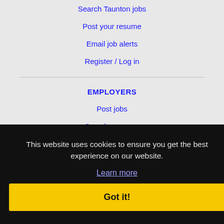Search Taunton jobs
Post your resume
Email job alerts
Register / Log in
EMPLOYERS
Post jobs
Search resumes
Email resume alerts
Advertise
IMMIGRATION SPECIALISTS
Post jobs
Immigration FAQs
Learn more
This website uses cookies to ensure you get the best experience on our website.
Learn more
Got it!